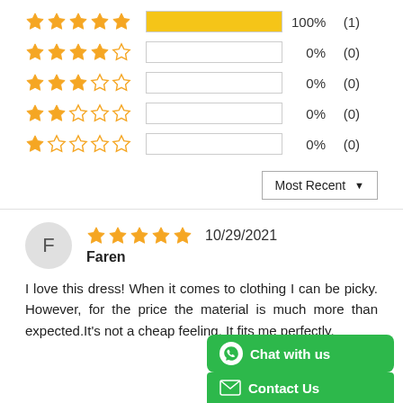[Figure (infographic): Star rating distribution: 5 stars 100% (1), 4 stars 0% (0), 3 stars 0% (0), 2 stars 0% (0), 1 star 0% (0)]
[Figure (infographic): Dropdown button labeled Most Recent with down arrow]
F
[Figure (infographic): 5 filled gold stars with date 10/29/2021]
Faren
I love this dress! When it comes to clothing I can be picky. However, for the price the material is much more than expected.It's not a cheap feeling. It fits me perfectly.
[Figure (infographic): WhatsApp Chat with us green button and Contact Us green button at bottom right]